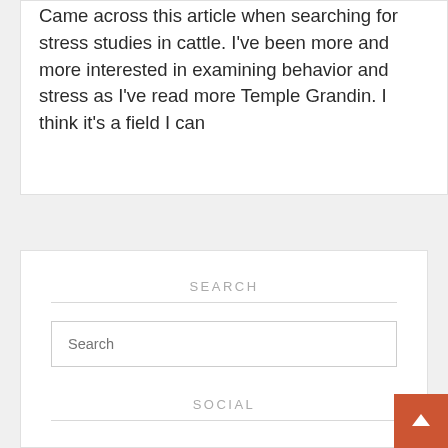Came across this article when searching for stress studies in cattle. I've been more and more interested in examining behavior and stress as I've read more Temple Grandin. I think it's a field I can
SEARCH
Search
SOCIAL